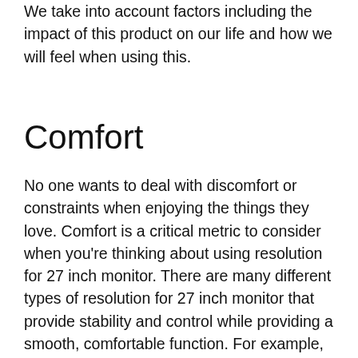We take into account factors including the impact of this product on our life and how we will feel when using this.
Comfort
No one wants to deal with discomfort or constraints when enjoying the things they love. Comfort is a critical metric to consider when you're thinking about using resolution for 27 inch monitor. There are many different types of resolution for 27 inch monitor that provide stability and control while providing a smooth, comfortable function. For example, when you buy a fishing kayak, you want to ensure that you don't spend your whole trip thinking about how much you want to get out of your boat because your